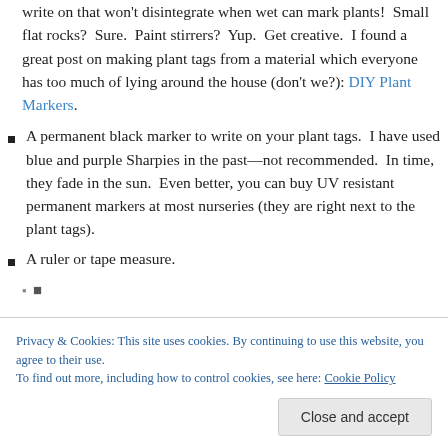write on that won't disintegrate when wet can mark plants!  Small flat rocks?  Sure.  Paint stirrers?  Yup.  Get creative.  I found a great post on making plant tags from a material which everyone has too much of lying around the house (don't we?): DIY Plant Markers.
A permanent black marker to write on your plant tags.  I have used blue and purple Sharpies in the past—not recommended.  In time, they fade in the sun.  Even better, you can buy UV resistant permanent markers at most nurseries (they are right next to the plant tags).
A ruler or tape measure.
Privacy & Cookies: This site uses cookies. By continuing to use this website, you agree to their use. To find out more, including how to control cookies, see here: Cookie Policy